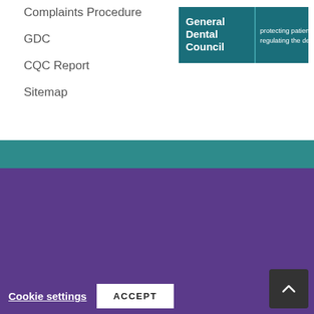Complaints Procedure
GDC
CQC Report
Sitemap
[Figure (logo): General Dental Council logo — white text on teal background reading 'General Dental Council | protecting patients, regulating the dental team']
© Diamond Smiles Dental - 2022 | Site Last updated
We use cookies on our website to give you the most relevant experience by remembering your preferences and repeat visits. By clicking "Accept", you consent to the use of ALL the cookies. However you may visit Cookie Settings to provide a controlled consent.
Cookie settings   ACCEPT